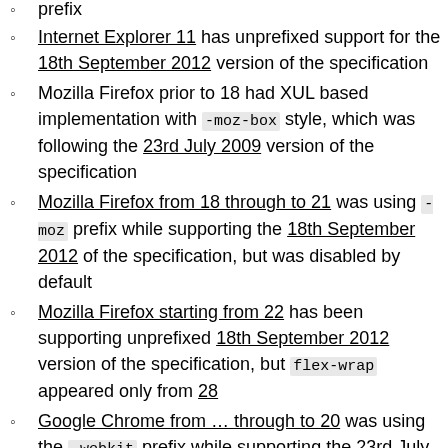prefix
Internet Explorer 11 has unprefixed support for the 18th September 2012 version of the specification
Mozilla Firefox prior to 18 had XUL based implementation with -moz-box style, which was following the 23rd July 2009 version of the specification
Mozilla Firefox from 18 through to 21 was using -moz prefix while supporting the 18th September 2012 of the specification, but was disabled by default
Mozilla Firefox starting from 22 has been supporting unprefixed 18th September 2012 version of the specification, but flex-wrap appeared only from 28
Google Chrome from ... through to 20 was using the -webkit prefix while supporting the 23rd July 2009 version of the specification
Google Chrome from 21 through to 28 was using the